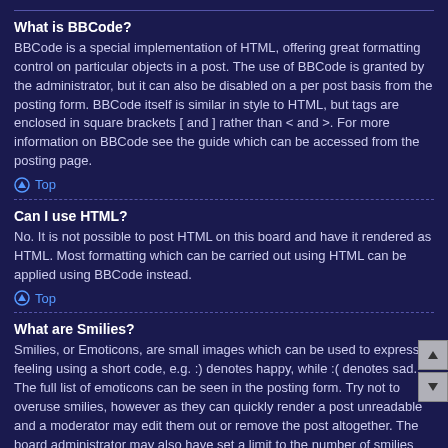What is BBCode?
BBCode is a special implementation of HTML, offering great formatting control on particular objects in a post. The use of BBCode is granted by the administrator, but it can also be disabled on a per post basis from the posting form. BBCode itself is similar in style to HTML, but tags are enclosed in square brackets [ and ] rather than < and >. For more information on BBCode see the guide which can be accessed from the posting page.
Top
Can I use HTML?
No. It is not possible to post HTML on this board and have it rendered as HTML. Most formatting which can be carried out using HTML can be applied using BBCode instead.
Top
What are Smilies?
Smilies, or Emoticons, are small images which can be used to express a feeling using a short code, e.g. :) denotes happy, while :( denotes sad. The full list of emoticons can be seen in the posting form. Try not to overuse smilies, however as they can quickly render a post unreadable and a moderator may edit them out or remove the post altogether. The board administrator may also have set a limit to the number of smilies you may use within a post.